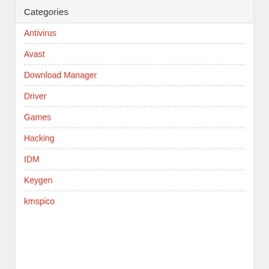Categories
Antivirus
Avast
Download Manager
Driver
Games
Hacking
IDM
Keygen
kmspico